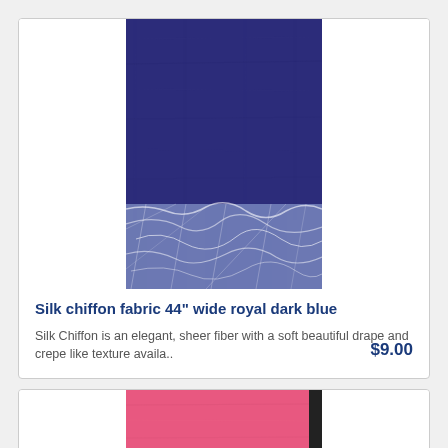[Figure (photo): Close-up photo of dark royal blue silk chiffon fabric, with smooth upper area and crinkled/crumpled transparent plastic wrap section at the bottom.]
Silk chiffon fabric 44" wide royal dark blue
Silk Chiffon is an elegant, sheer fiber with a soft beautiful drape and crepe like texture availa..
$9.00
[Figure (photo): Partial photo of coral/hot pink silk chiffon fabric with a dark edge visible on the right side, cropped at the bottom.]